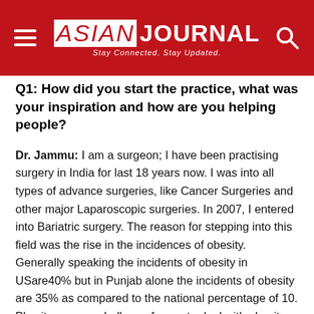ASIAN JOURNAL — Stay Connected. Stay Updated.
Q1: How did you start the practice, what was your inspiration and how are you helping people?
Dr. Jammu: I am a surgeon; I have been practising surgery in India for last 18 years now. I was into all types of advance surgeries, like Cancer Surgeries and other major Laparoscopic surgeries. In 2007, I entered into Bariatric surgery. The reason for stepping into this field was the rise in the incidences of obesity. Generally speaking the incidents of obesity in USare40% but in Punjab alone the incidents of obesity are 35% as compared to the national percentage of 10. Plus it was new challenge for me to deal with obesity surgically.
Q2: How are people reacting to it? Are they comfortable